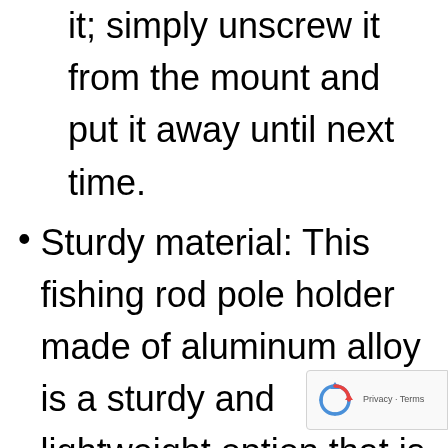it; simply unscrew it from the mount and put it away until next time.
Sturdy material: This fishing rod pole holder made of aluminum alloy is a sturdy and lightweight option that is also rust-free. This makes it an excellent choice for use outdoors, as it will withstand the elements without rusting.
Universal fit: This holder is made of a high-quality